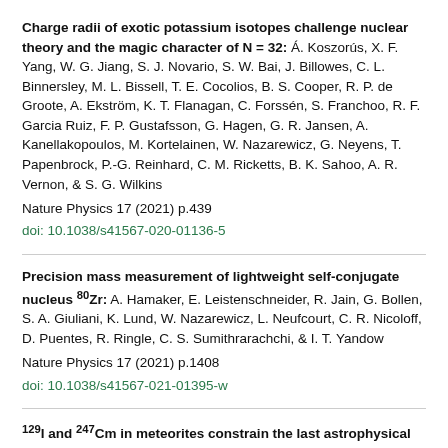Charge radii of exotic potassium isotopes challenge nuclear theory and the magic character of N = 32: Á. Koszorús, X. F. Yang, W. G. Jiang, S. J. Novario, S. W. Bai, J. Billowes, C. L. Binnersley, M. L. Bissell, T. E. Cocolios, B. S. Cooper, R. P. de Groote, A. Ekström, K. T. Flanagan, C. Forssén, S. Franchoo, R. F. Garcia Ruiz, F. P. Gustafsson, G. Hagen, G. R. Jansen, A. Kanellakopoulos, M. Kortelainen, W. Nazarewicz, G. Neyens, T. Papenbrock, P.-G. Reinhard, C. M. Ricketts, B. K. Sahoo, A. R. Vernon, & S. G. Wilkins
Nature Physics 17 (2021) p.439
doi: 10.1038/s41567-020-01136-5
Precision mass measurement of lightweight self-conjugate nucleus 80Zr: A. Hamaker, E. Leistenschneider, R. Jain, G. Bollen, S. A. Giuliani, K. Lund, W. Nazarewicz, L. Neufcourt, C. R. Nicoloff, D. Puentes, R. Ringle, C. S. Sumithrarachchi, & I. T. Yandow
Nature Physics 17 (2021) p.1408
doi: 10.1038/s41567-021-01395-w
129I and 247Cm in meteorites constrain the last astrophysical source of solar r-process elements: Benoit Côté, Marius Eichler, Andrés Yagüe López, Nicole Vassh,